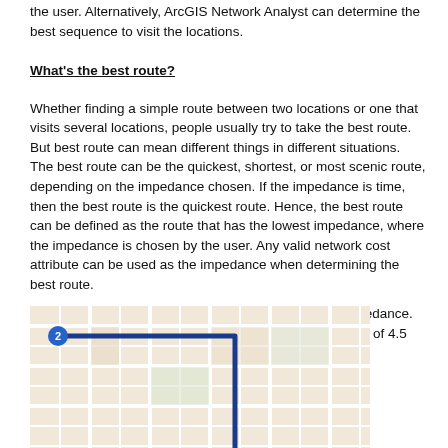the user. Alternatively, ArcGIS Network Analyst can determine the best sequence to visit the locations.
What's the best route?
Whether finding a simple route between two locations or one that visits several locations, people usually try to take the best route. But best route can mean different things in different situations.
The best route can be the quickest, shortest, or most scenic route, depending on the impedance chosen. If the impedance is time, then the best route is the quickest route. Hence, the best route can be defined as the route that has the lowest impedance, where the impedance is chosen by the user. Any valid network cost attribute can be used as the impedance when determining the best route.
In the example below, the first case uses time as an impedance. The quickest path is shown in blue and has a total length of 4.5 miles, which takes 8 minutes to traverse.
[Figure (map): A street map showing a route drawn in blue from point 2 (upper left) going right along a street, then turning down and continuing south, depicting a path through a city grid layout.]